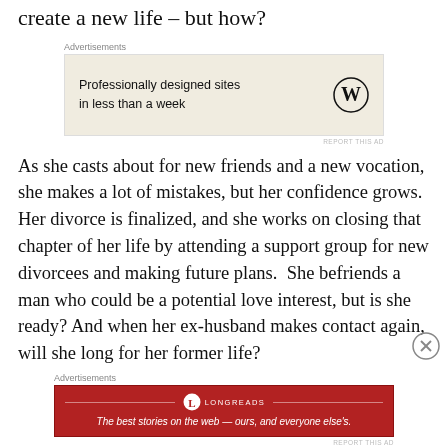create a new life – but how?
[Figure (other): Advertisement banner: WordPress ad showing 'Professionally designed sites in less than a week' with WordPress logo]
As she casts about for new friends and a new vocation, she makes a lot of mistakes, but her confidence grows. Her divorce is finalized, and she works on closing that chapter of her life by attending a support group for new divorcees and making future plans.  She befriends a man who could be a potential love interest, but is she ready? And when her ex-husband makes contact again, will she long for her former life?
[Figure (other): Advertisement banner: Longreads ad showing 'The best stories on the web — ours, and everyone else's.' on red background]